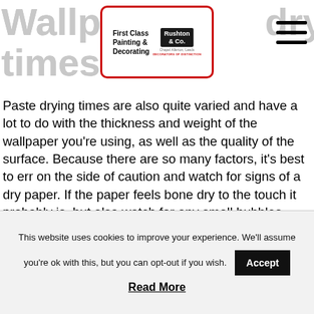Wallpaper drying times
[Figure (logo): First Class Painting & Decorating — Rushton & Co. logo in a red-bordered rounded rectangle with house icon]
Paste drying times are also quite varied and have a lot to do with the thickness and weight of the wallpaper you’re using, as well as the quality of the surface. Because there are so many factors, it’s best to err on the side of caution and watch for signs of a dry paper. If the paper feels bone dry to the touch it probably is, but also watch for any small bubbles being pulled flat to the wall as this is a great indicator that the paper is ready for paint. If you’re in any doubt, however, leave it overnight.
This website uses cookies to improve your experience. We'll assume you're ok with this, but you can opt-out if you wish.
Read More